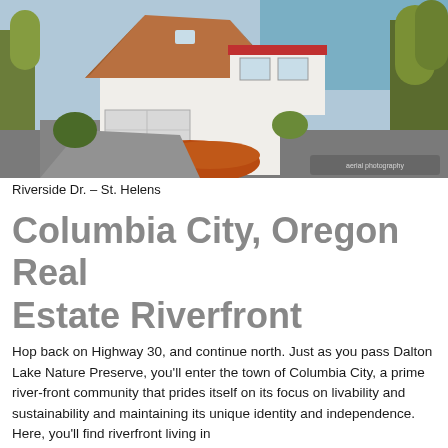[Figure (photo): Aerial view of a white house with a brown hip roof and attached garage, surrounded by trees and a river in the background. Red dirt/rock landscaping visible in front.]
Riverside Dr. – St. Helens
Columbia City, Oregon Real Estate Riverfront
Hop back on Highway 30, and continue north. Just as you pass Dalton Lake Nature Preserve, you'll enter the town of Columbia City, a prime river-front community that prides itself on its focus on livability and sustainability and maintaining its unique identity and independence. Here, you'll find riverfront living in